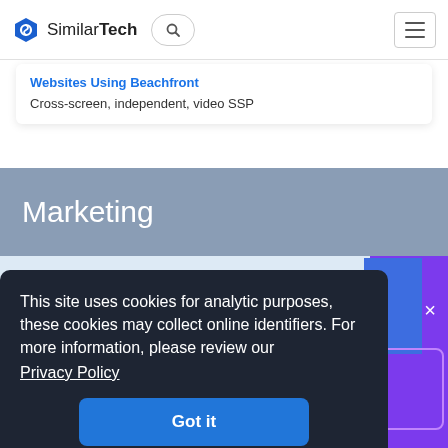SimilarTech
Websites Using Beachfront
Cross-screen, independent, video SSP
Marketing
This site uses cookies for analytic purposes, these cookies may collect online identifiers. For more information, please review our Privacy Policy
Got it